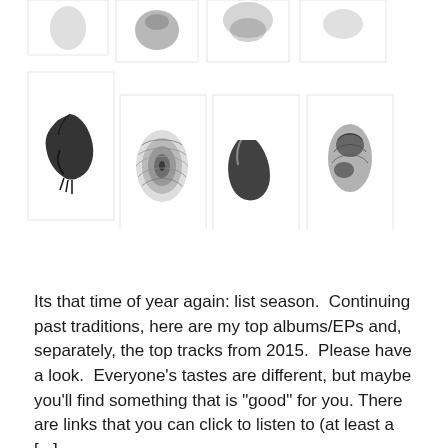[Figure (photo): A grid of fingerprint images arranged in two rows. Top row shows partial fingerprints visible at top edge. Bottom row shows four fingerprint cards with dark ink prints on white card backgrounds.]
Its that time of year again: list season.  Continuing past traditions, here are my top albums/EPs and, separately, the top tracks from 2015.  Please have a look.  Everyone's tastes are different, but maybe you'll find something that is "good" for you. There are links that you can click to listen to (at least a [...]